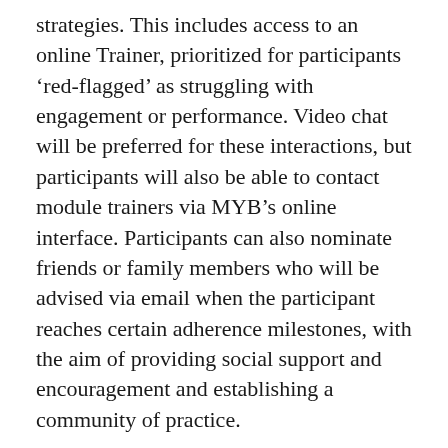strategies. This includes access to an online Trainer, prioritized for participants 'red-flagged' as struggling with engagement or performance. Video chat will be preferred for these interactions, but participants will also be able to contact module trainers via MYB's online interface. Participants can also nominate friends or family members who will be advised via email when the participant reaches certain adherence milestones, with the aim of providing social support and encouragement and establishing a community of practice.
The Brain Training module is therefore designed to be automatically adaptive to a participant's baseline score and progress during training. Safety issues are not foreseen for this module.
Participants will receive email notifications when a new activity is available as well as when performance problems are noted to support adherence. The Brain